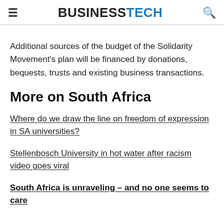BUSINESSTECH
Additional sources of the budget of the Solidarity Movement's plan will be financed by donations, bequests, trusts and existing business transactions.
More on South Africa
Where do we draw the line on freedom of expression in SA universities?
Stellenbosch University in hot water after racism video goes viral
South Africa is unraveling – and no one seems to care